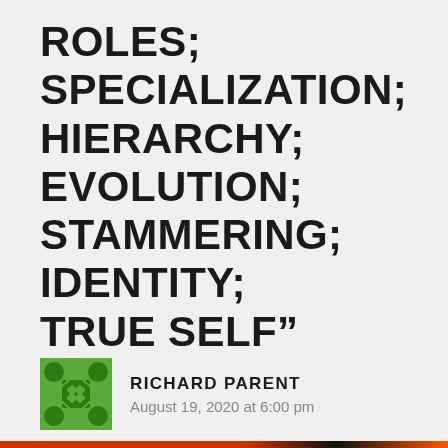ROLES; SPECIALIZATION; HIERARCHY; EVOLUTION; STAMMERING; IDENTITY; TRUE SELF”
RICHARD PARENT
August 19, 2020 at 6:00 pm
Thanks Matt.
Privacy & Cookies: This site uses cookies. By continuing to use this website, you agree to their use.
To find out more, including how to control cookies, see here: Cookie Policy